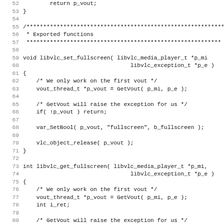Source code listing showing libvlc_set_fullscreen and libvlc_get_fullscreen functions, lines 52–83